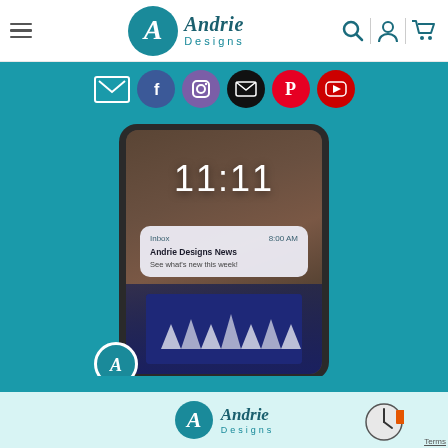[Figure (screenshot): Website header with hamburger menu, Andrie Designs logo (circle with A letter), and navigation icons (search, user, cart)]
[Figure (screenshot): Teal social media bar with email outline icon, Facebook (blue circle), Instagram (purple circle), email (black circle), Pinterest (red circle), YouTube (red circle) icons]
[Figure (photo): Smartphone showing lock screen time 11:11 with notification from Andrie Designs News reading 'See what's new this week!' and a blue fabric bag with tree pattern in background]
[Figure (screenshot): Bottom partial strip with teal bar and Andrie Designs logo text on light blue background, with clock widget and Terms link]